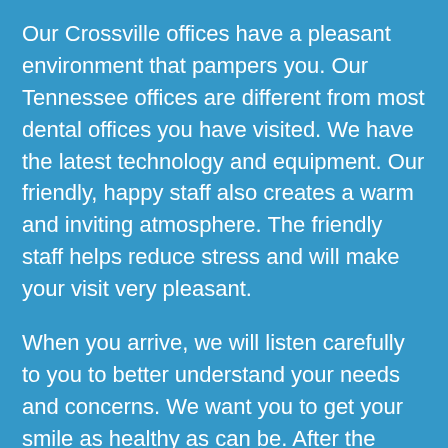Our Crossville offices have a pleasant environment that pampers you. Our Tennessee offices are different from most dental offices you have visited. We have the latest technology and equipment. Our friendly, happy staff also creates a warm and inviting atmosphere. The friendly staff helps reduce stress and will make your visit very pleasant.
When you arrive, we will listen carefully to you to better understand your needs and concerns. We want you to get your smile as healthy as can be. After the diagnosis, we will help educate you about your options.
Then we will develop a specific treatment plan just for you. We have several affordable payment options available.
If you need any dentistry or just a general dentist, we have you covered. Outstanding customer service